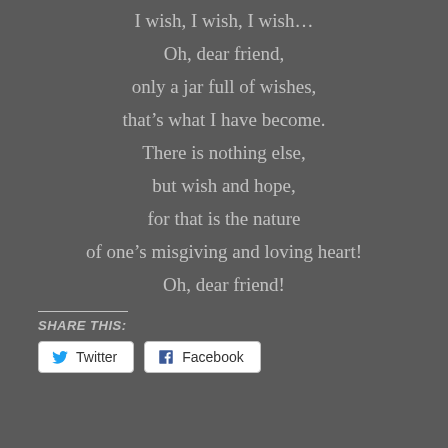I wish, I wish, I wish…
Oh, dear friend,
only a jar full of wishes,
that's what I have become.
There is nothing else,
but wish and hope,
for that is the nature
of one's misgiving and loving heart!
Oh, dear friend!
SHARE THIS:
Twitter  Facebook